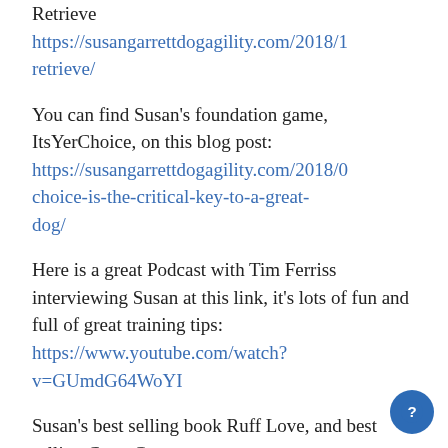Retrieve
https://susangarrettdogagility.com/2018/1…retrieve/
You can find Susan's foundation game, ItsYerChoice, on this blog post: https://susangarrettdogagility.com/2018/0…choice-is-the-critical-key-to-a-great-dog/
Here is a great Podcast with Tim Ferriss interviewing Susan at this link, it's lots of fun and full of great training tips: https://www.youtube.com/watch?v=GUmdG64WoYI
Susan's best selling book Ruff Love, and best selling Crate Games